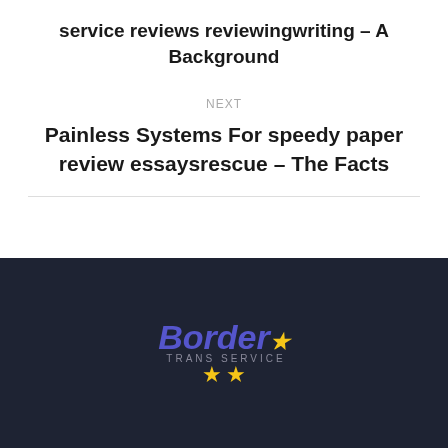service reviews reviewingwriting – A Background
NEXT
Painless Systems For speedy paper review essaysrescue – The Facts
[Figure (logo): Border Trans Service logo with blue italic bold text 'Border' and yellow stars, subtitle 'TRANS SERVICE' in grey on dark navy background]